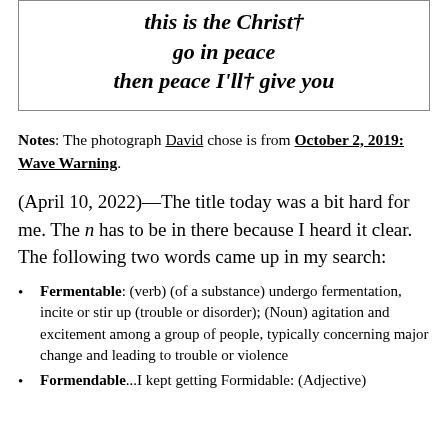[Figure (other): Box containing italic bold verse text: 'this is the Christ / go in peace / then peace I'll† give you']
Notes: The photograph David chose is from October 2, 2019: Wave Warning.
(April 10, 2022)—The title today was a bit hard for me. The n has to be in there because I heard it clear. The following two words came up in my search:
Fermentable: (verb) (of a substance) undergo fermentation, incite or stir up (trouble or disorder); (Noun) agitation and excitement among a group of people, typically concerning major change and leading to trouble or violence
Formendable...I kept getting Formidable: (Adjective)